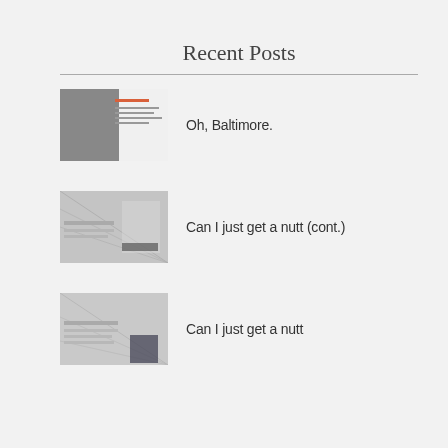Recent Posts
Oh, Baltimore.
Can I just get a nutt (cont.)
Can I just get a nutt